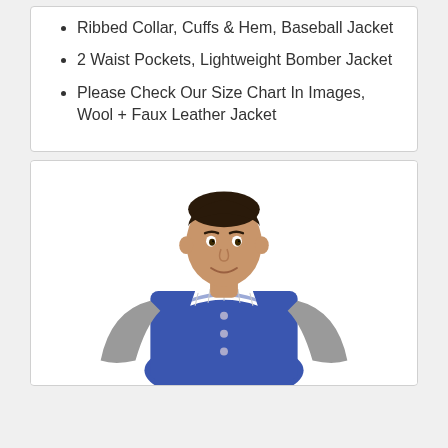Ribbed Collar, Cuffs & Hem, Baseball Jacket
2 Waist Pockets, Lightweight Bomber Jacket
Please Check Our Size Chart In Images, Wool + Faux Leather Jacket
[Figure (photo): Man wearing a blue and grey varsity/letterman jacket, smiling, photographed from the waist up against a white background]